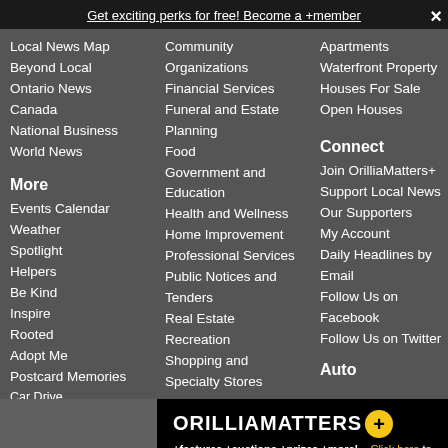Get exciting perks for free! Become a +member
Local News Map
Beyond Local
Ontario News
Canada
National Business
World News
More
Events Calendar
Weather
Spotlight
Helpers
Be Kind
Inspire
Rooted
Adopt Me
Postcard Memories
Community Organizations
Financial Services
Funeral and Estate Planning
Food
Government and Education
Health and Wellness
Home Improvement
Professional Services
Public Notices and Tenders
Real Estate
Recreation
Shopping and Specialty Stores
Apartments
Waterfront Property
Houses For Sale
Open Houses
Connect
Join OrilliaMatters+
Support Local News
Our Supporters
My Account
Daily Headlines by Email
Follow Us on Facebook
Follow Us on Twitter
Auto
[Figure (logo): OrilliaMatters+ logo with yellow plus circle, tagline: +features +auctions +prizes +more! Click here to join]